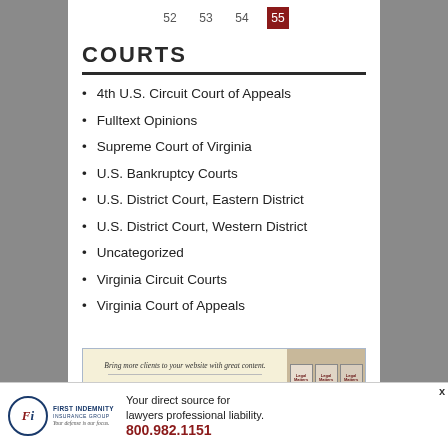[Figure (other): Pagination bar showing page numbers 52, 53, 54, and 55 (active, highlighted in red)]
COURTS
4th U.S. Circuit Court of Appeals
Fulltext Opinions
Supreme Court of Virginia
U.S. Bankruptcy Courts
U.S. District Court, Eastern District
U.S. District Court, Western District
Uncategorized
Virginia Circuit Courts
Virginia Court of Appeals
[Figure (infographic): Advertisement banner: Bring more clients to your website with great content. Click for free sample. Shows Legal Matters magazine covers on right side.]
[Figure (infographic): Footer advertisement for First Indemnity Insurance Group: Your direct source for lawyers professional liability. 800.982.1151. Your defense is our focus.]